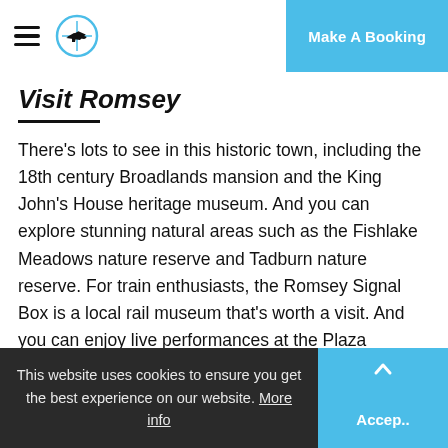Visit Romsey — Make A Booking
Visit Romsey
There's lots to see in this historic town, including the 18th century Broadlands mansion and the King John's House heritage museum. And you can explore stunning natural areas such as the Fishlake Meadows nature reserve and Tadburn nature reserve. For train enthusiasts, the Romsey Signal Box is a local rail museum that's worth a visit. And you can enjoy live performances at the Plaza Theatre. Take a walk along the River Test during your stay and see the scenic
This website uses cookies to ensure you get the best experience on our website. More info   Accept.